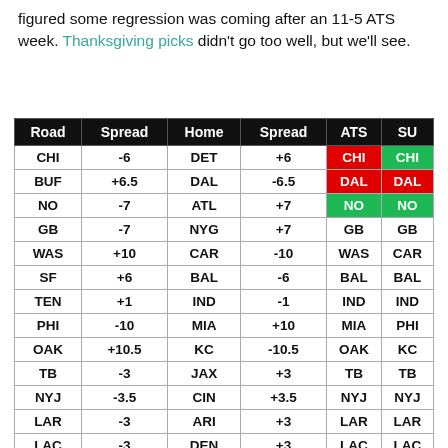figured some regression was coming after an 11-5 ATS week. Thanksgiving picks didn't go too well, but we'll see.
| Road | Spread | Home | Spread | ATS | SU |
| --- | --- | --- | --- | --- | --- |
| CHI | -6 | DET | +6 | CHI | CHI |
| BUF | +6.5 | DAL | -6.5 | DAL | DAL |
| NO | -7 | ATL | +7 | NO | NO |
| GB | -7 | NYG | +7 | GB | GB |
| WAS | +10 | CAR | -10 | WAS | CAR |
| SF | +6 | BAL | -6 | BAL | BAL |
| TEN | +1 | IND | -1 | IND | IND |
| PHI | -10 | MIA | +10 | MIA | PHI |
| OAK | +10.5 | KC | -10.5 | OAK | KC |
| TB | -3 | JAX | +3 | TB | TB |
| NYJ | -3.5 | CIN | +3.5 | NYJ | NYJ |
| LAR | -3 | ARI | +3 | LAR | LAR |
| LAC | -3 | DEN | +3 | LAC | LAC |